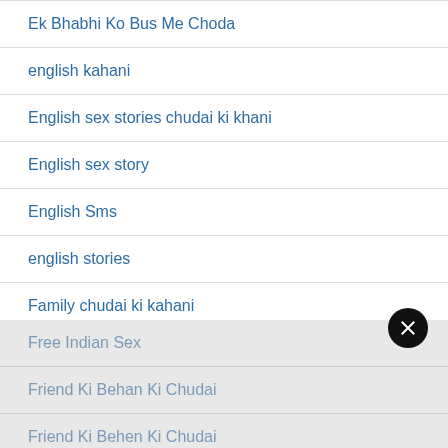Ek Bhabhi Ko Bus Me Choda
english kahani
English sex stories chudai ki khani
English sex story
English Sms
english stories
Family chudai ki kahani
Family Incest
Family ki chudai
Family Sex Stories
Family Sex Stories 2019
Flat Owner Aunty Ko Choda
Free Indian Sex
Friend Ki Behan Ki Chudai
Friend Ki Behen Ki Chudai